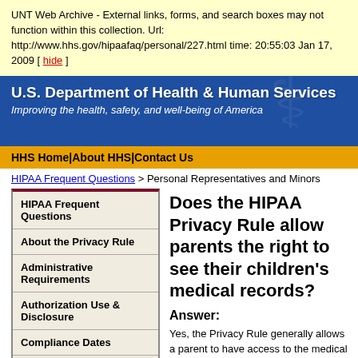UNT Web Archive - External links, forms, and search boxes may not function within this collection. Url: http://www.hhs.gov/hipaafaq/personal/227.html time: 20:55:03 Jan 17, 2009 [ hide ]
U.S. Department of Health & Human Services
Improving the health, safety, and well-being of America
HHS Home|About HHS|Contact Us
HIPAA Frequent Questions > Personal Representatives and Minors
HIPAA Frequent Questions
About the Privacy Rule
Administrative Requirements
Authorization Use & Disclosure
Compliance Dates
Limited Use and Disclosure
Notice and Other Individual Rights
Does the HIPAA Privacy Rule allow parents the right to see their children's medical records?
Answer:
Yes, the Privacy Rule generally allows a parent to have access to the medical records about his or her child, as his or her minor child's